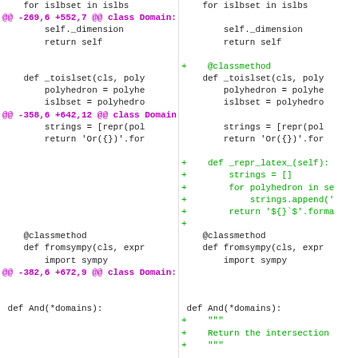[Figure (screenshot): A unified diff / code review screenshot showing two-column side-by-side diff of Python source code. Left column shows the old version, right column shows the new version. Hunk headers are in magenta/purple, added lines are in green, unchanged lines are in black monospace text. The diff includes changes to class Domain methods: _toislset, _repr_latex_, fromsympy, and And function with docstring additions.]